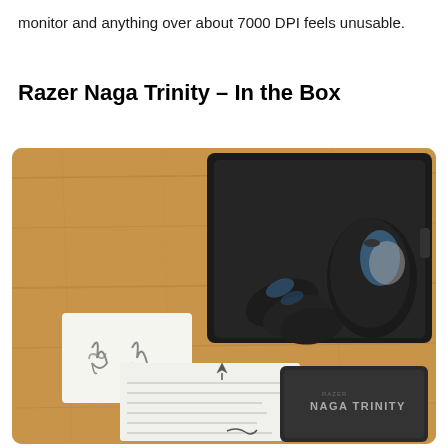monitor and anything over about 7000 DPI feels unusable.
Razer Naga Trinity – In the Box
[Figure (photo): Photo of Razer Naga Trinity mouse unboxing on a wooden table. Shows a black tray containing the mouse and three interchangeable side panels, along with Razer stickers, instruction booklet with Razer logo, and a dark box labeled NAGA TRINITY.]